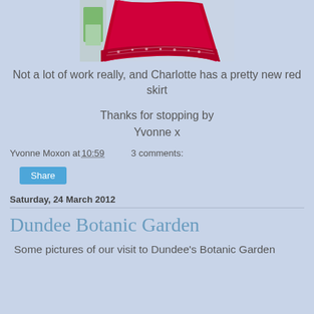[Figure (photo): Photo of a pretty red skirt with decorative trim/embroidery at the hem, partially cropped at top]
Not a lot of work really, and Charlotte has a pretty new red skirt
Thanks for stopping by
Yvonne x
Yvonne Moxon at 10:59    3 comments:
Share
Saturday, 24 March 2012
Dundee Botanic Garden
Some pictures of our visit to Dundee's Botanic Garden